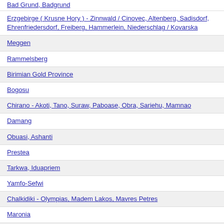Bad Grund, Badgrund
Erzgebirge ( Krusne Hory ) - Zinnwald / Cinovec, Altenberg, Sadisdorf, Ehrenfriedersdorf, Freiberg, Hammerlein, Niederschlag / Kovarska
Meggen
Rammelsberg
Birimian Gold Province
Bogosu
Chirano - Akoti, Tano, Suraw, Paboase, Obra, Sariehu, Mamnao
Damang
Obuasi, Ashanti
Prestea
Tarkwa, Iduapriem
Yamfo-Sefwi
Chalkidiki - Olympias, Madem Lakos, Mavres Petres
Maronia
Sapes, Sappes - Viper, Saint Demetrios, Scarp
Skouries
Black Angel
Malmbjerg, Mellempas, Flammefjeld
Nalunaq